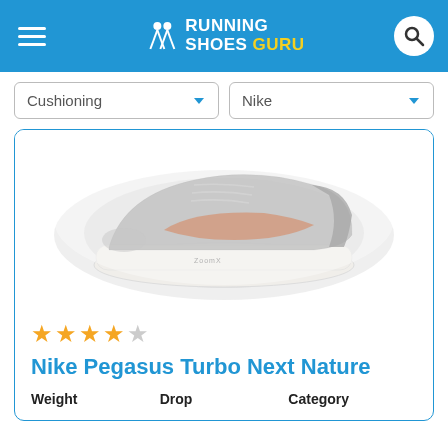Running Shoes Guru
Cushioning | Nike
[Figure (photo): Nike Pegasus Turbo Next Nature running shoe, gray and orange colorway with ZoomX midsole, shown in side profile, blurred/faded product photo]
★★★½☆ (3.5 out of 5 stars)
Nike Pegasus Turbo Next Nature
| Weight | Drop | Category |
| --- | --- | --- |